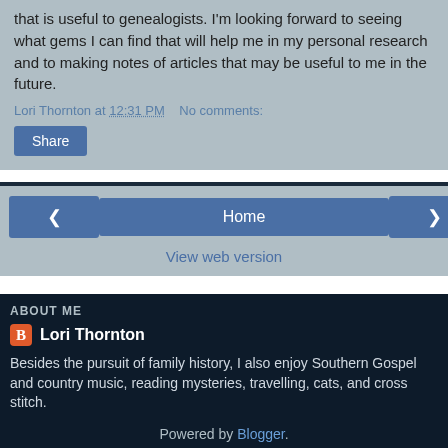that is useful to genealogists. I'm looking forward to seeing what gems I can find that will help me in my personal research and to making notes of articles that may be useful to me in the future.
Lori Thornton at 12:31 PM   No comments:
Share
‹   Home   ›
View web version
ABOUT ME
Lori Thornton
Besides the pursuit of family history, I also enjoy Southern Gospel and country music, reading mysteries, travelling, cats, and cross stitch.
View my complete profile
Powered by Blogger.